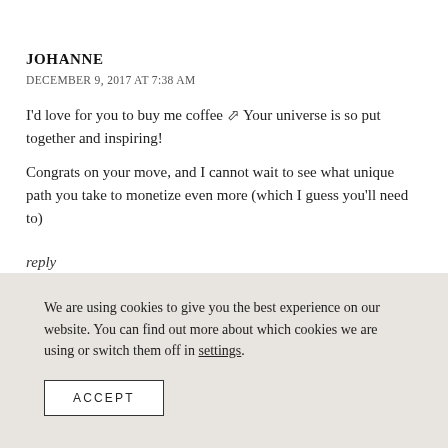JOHANNE
DECEMBER 9, 2017 AT 7:38 AM
I'd love for you to buy me coffee ☕ Your universe is so put together and inspiring!
Congrats on your move, and I cannot wait to see what unique path you take to monetize even more (which I guess you'll need to)
reply
We are using cookies to give you the best experience on our website. You can find out more about which cookies we are using or switch them off in settings.
ACCEPT